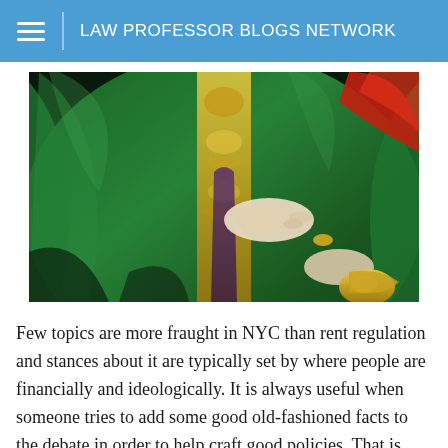LAW PROFESSOR BLOGS NETWORK
[Figure (photo): Close-up photograph of a stained glass window depicting a religious or historical figure in green and gold robes with red accents, holding objects in both hands including what appears to be a sword or scepter with gold ornamental details.]
Few topics are more fraught in NYC than rent regulation and stances about it are typically set by where people are financially and ideologically. It is always useful when someone tries to add some good old-fashioned facts to the debate in order to help craft good policies. That is particularly true now, given that NYC's rent laws are